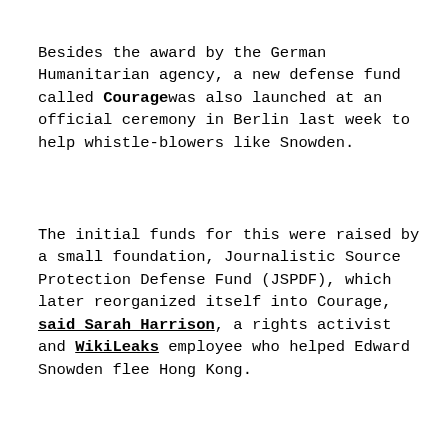Besides the award by the German Humanitarian agency, a new defense fund called Courage was also launched at an official ceremony in Berlin last week to help whistle-blowers like Snowden.
The initial funds for this were raised by a small foundation, Journalistic Source Protection Defense Fund (JSPDF), which later reorganized itself into Courage, said Sarah Harrison, a rights activist and WikiLeaks employee who helped Edward Snowden flee Hong Kong.